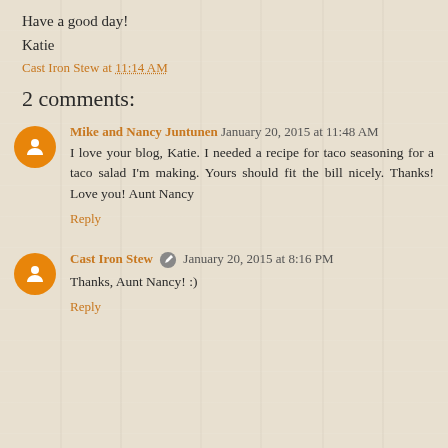Have a good day!
Katie
Cast Iron Stew at 11:14 AM
2 comments:
Mike and Nancy Juntunen  January 20, 2015 at 11:48 AM
I love your blog, Katie. I needed a recipe for taco seasoning for a taco salad I'm making. Yours should fit the bill nicely. Thanks! Love you! Aunt Nancy
Reply
Cast Iron Stew  January 20, 2015 at 8:16 PM
Thanks, Aunt Nancy! :)
Reply